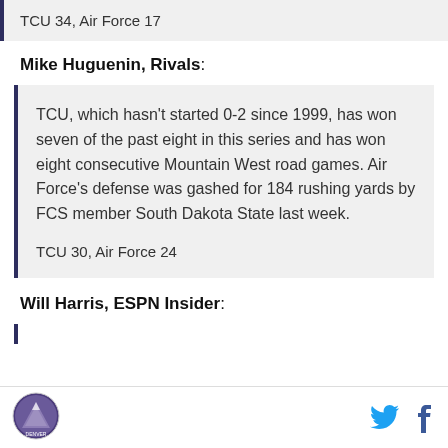TCU 34, Air Force 17
Mike Huguenin, Rivals:
TCU, which hasn't started 0-2 since 1999, has won seven of the past eight in this series and has won eight consecutive Mountain West road games. Air Force's defense was gashed for 184 rushing yards by FCS member South Dakota State last week.

TCU 30, Air Force 24
Will Harris, ESPN Insider: